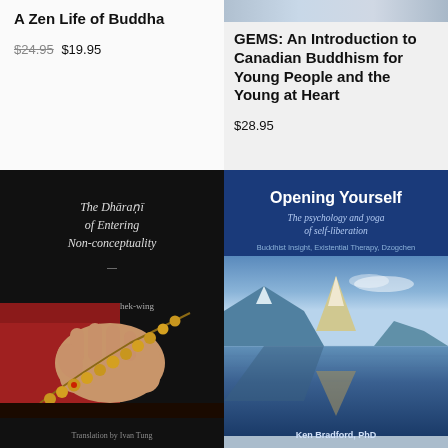A Zen Life of Buddha
$24.95 $19.95
GEMS: An Introduction to Canadian Buddhism for Young People and the Young at Heart
$28.95
[Figure (photo): Book cover: The Dharani of Entering Non-conceptuality by Master Tam Shek-wing, translated by Ivan Tung. Dark cover with image of hand holding prayer beads.]
[Figure (photo): Book cover: Opening Yourself - The psychology and yoga of self-liberation. Buddhist Insight, Existential Therapy, Dzogchen. By Ken Bradford, PhD. Blue cover with mountain lake reflection photo.]